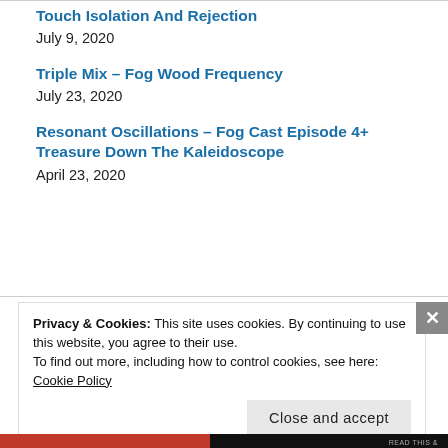Touch Isolation And Rejection
July 9, 2020
Triple Mix – Fog Wood Frequency
July 23, 2020
Resonant Oscillations – Fog Cast Episode 4+ Treasure Down The Kaleidoscope
April 23, 2020
Privacy & Cookies: This site uses cookies. By continuing to use this website, you agree to their use.
To find out more, including how to control cookies, see here: Cookie Policy